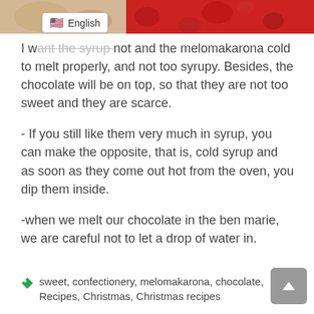[Figure (photo): Top portion of a food photo showing melomakarona cookies with red decorations/pomegranate seeds]
English (language badge with US flag)
I want the syrup hot and the melomakarona cold to melt properly, and not too syrupy. Besides, the chocolate will be on top, so that they are not too sweet and they are scarce.
- If you still like them very much in syrup, you can make the opposite, that is, cold syrup and as soon as they come out hot from the oven, you dip them inside.
-when we melt our chocolate in the ben marie, we are careful not to let a drop of water in.
sweet, confectionery, melomakarona, chocolate, Recipes, Christmas, Christmas recipes